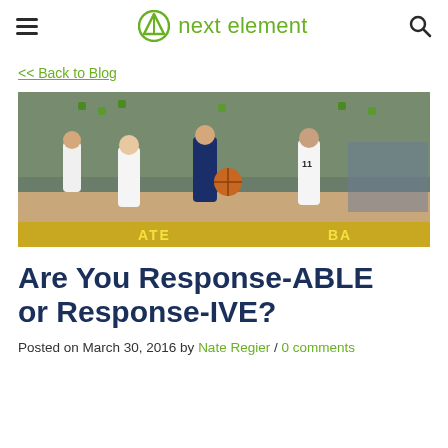next element
<< Back to Blog
[Figure (photo): Women's basketball game action photo showing UConn player in navy uniform dribbling between two Notre Dame players in white uniforms, with crowd and referees in background.]
Are You Response-ABLE or Response-IVE?
Posted on March 30, 2016 by Nate Regier / 0 comments